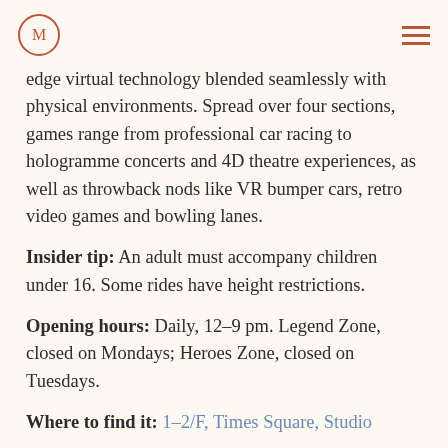M [logo] | [hamburger menu]
edge virtual technology blended seamlessly with physical environments. Spread over four sections, games range from professional car racing to hologramme concerts and 4D theatre experiences, as well as throwback nods like VR bumper cars, retro video games and bowling lanes.
Insider tip: An adult must accompany children under 16. Some rides have height restrictions.
Opening hours: Daily, 12–9 pm. Legend Zone, closed on Mondays; Heroes Zone, closed on Tuesdays.
Where to find it: 1–2/F, Times Square, Studio